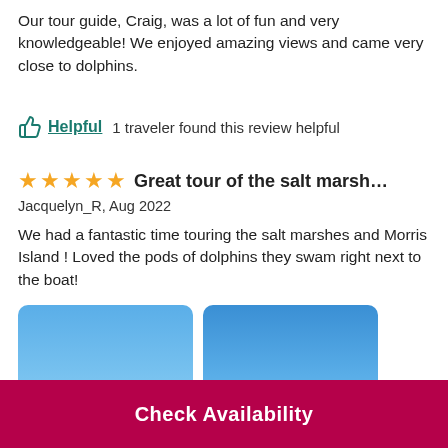Our tour guide, Craig, was a lot of fun and very knowledgeable! We enjoyed amazing views and came very close to dolphins.
Helpful   1 traveler found this review helpful
Great tour of the salt marshes plus D...
Jacquelyn_R, Aug 2022
We had a fantastic time touring the salt marshes and Morris Island ! Loved the pods of dolphins they swam right next to the boat!
[Figure (photo): Two photos side by side showing blue sky with a small silhouette visible near the bottom of each image]
Check Availability